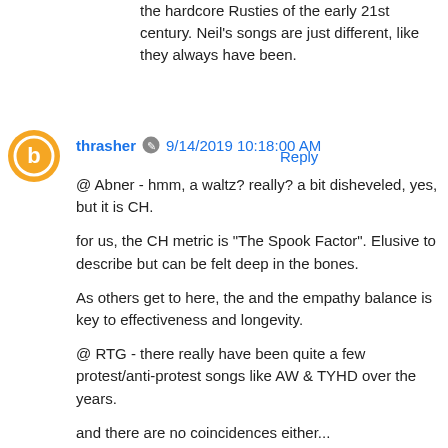the hardcore Rusties of the early 21st century. Neil's songs are just different, like they always have been.
Reply
thrasher 9/14/2019 10:18:00 AM
@ Abner - hmm, a waltz? really? a bit disheveled, yes, but it is CH.
for us, the CH metric is "The Spook Factor". Elusive to describe but can be felt deep in the bones.
As others get to here, the and the empathy balance is key to effectiveness and longevity.
@ RTG - there really have been quite a few protest/anti-protest songs like AW & TYHD over the years.
and there are no coincidences either...
@ Art - don't despair. we'll ses you on the rail again someday my friend.